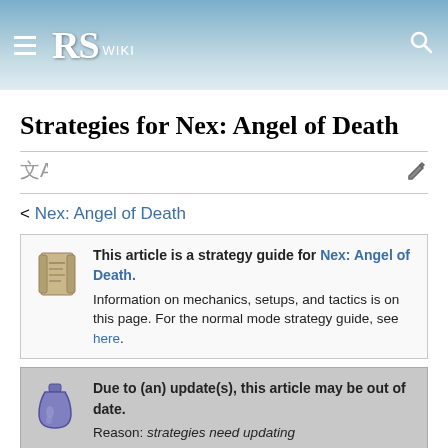RS WIKI
Strategies for Nex: Angel of Death
< Nex: Angel of Death
This article is a strategy guide for Nex: Angel of Death. Information on mechanics, setups, and tactics is on this page. For the normal mode strategy guide, see here.
Due to (an) update(s), this article may be out of date. Reason: strategies need updating. You can help improve this page by editing it.